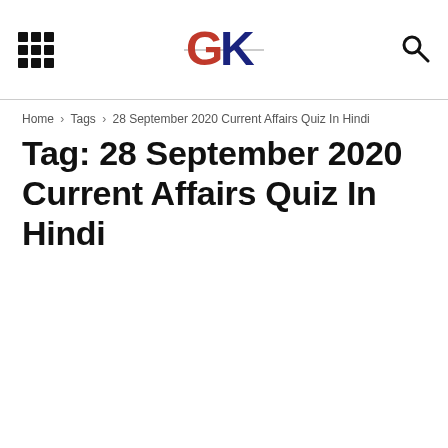GK (logo) — navigation header with grid menu and search icon
Home › Tags › 28 September 2020 Current Affairs Quiz In Hindi
Tag: 28 September 2020 Current Affairs Quiz In Hindi